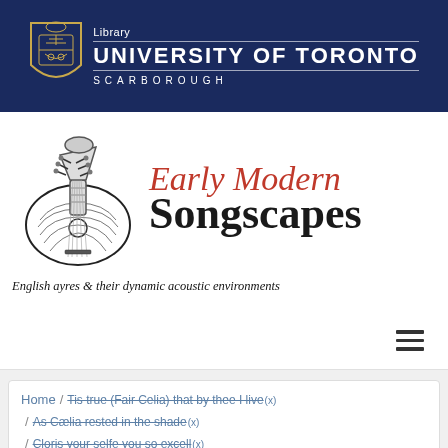[Figure (logo): University of Toronto Scarborough Library logo with shield and text on dark blue background]
[Figure (logo): Early Modern Songscapes logo with lute illustration, red italic 'Early Modern' and black 'Songscapes' text, subtitle 'English ayres & their dynamic acoustic environments']
[Figure (other): Hamburger menu icon (three horizontal lines)]
Home / Tis true (Fair Celia) that by thee I live (x) / As Cælia rested in the shade (x) / Cloris your selfe you so excell (x) / Venus, redress a wrong that's done (x) / Songscapes Conference (x) / editions (x)